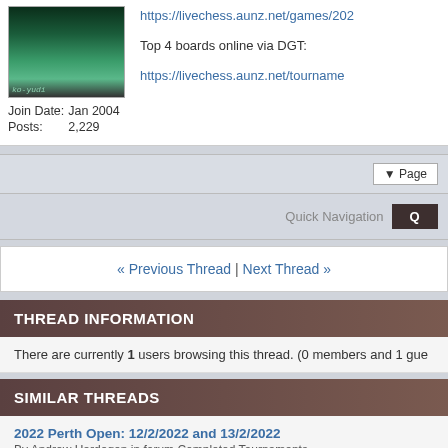[Figure (photo): User avatar image with green/dark tones, appears to be a chess-related photo]
Join Date: Jan 2004
Posts: 2,229
https://livechess.aunz.net/games/202...
Top 4 boards online via DGT:
https://livechess.aunz.net/tourname...
▼ Page
Quick Navigation
« Previous Thread | Next Thread »
THREAD INFORMATION
There are currently 1 users browsing this thread. (0 members and 1 gue...
SIMILAR THREADS
2022 Perth Open: 12/2/2022 and 13/2/2022
By Andrew Hardegen in forum Completed Tournaments
Gold Cup FIDE Open Apr 30-May 3